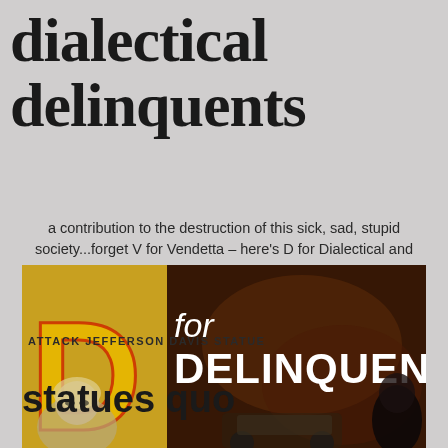dialectical delinquents
a contribution to the destruction of this sick, sad, stupid society...forget V for Vendetta – here's D for Dialectical and
[Figure (illustration): Vintage pulp-style image showing text 'D for DELINQUENT' with a stylized yellow letter D on the left and dark illustrated background on the right showing a woman's face and a man's silhouette]
ATTACK JEFFERSON DAVIS STATUE
statues quo